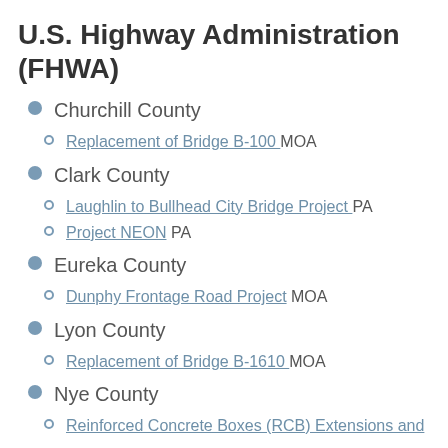U.S. Highway Administration (FHWA)
Churchill County
Replacement of Bridge B-100 MOA
Clark County
Laughlin to Bullhead City Bridge Project PA
Project NEON PA
Eureka County
Dunphy Frontage Road Project MOA
Lyon County
Replacement of Bridge B-1610 MOA
Nye County
Reinforced Concrete Boxes (RCB) Extensions and